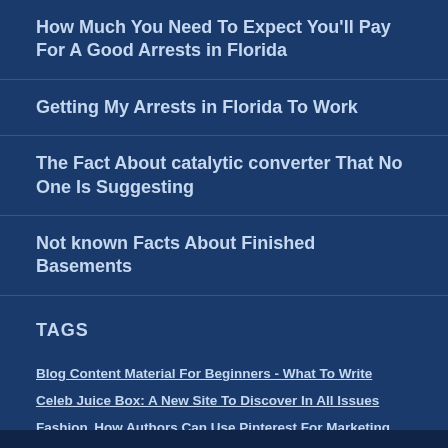How Much You Need To Expect You'll Pay For A Good Arrests in Florida
Getting My Arrests in Florida To Work
The Fact About catalytic converter That No One Is Suggesting
Not known Facts About Finished Basements
TAGS
Blog Content Material For Beginners - What To Write Celeb Juice Box: A New Site To Discover In All Issues Fashion How Authors Can Use Pinterest For Marketing How To Set Up A New Website Or Weblog